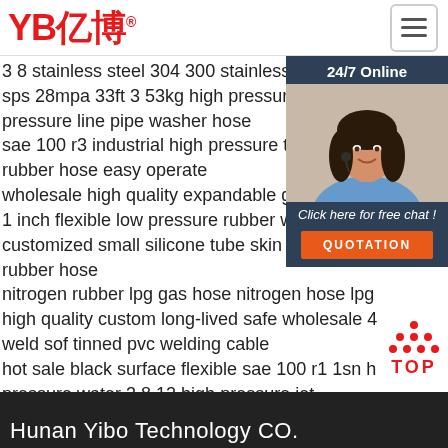YB亿博®
3 8 stainless steel 304 300 stainless steel flexible joint hose
sps 28mpa 33ft 3 53kg high pressure explosion pressure line pipe washer hose
sae 100 r3 industrial high pressure textile reinforced rubber hose easy operate
wholesale high quality expandable garden water hose
1 inch flexible low pressure rubber water hose
customized small silicone tube skin cleanser electric rubber hose
nitrogen rubber lpg gas hose nitrogen hose lpg
high quality custom long-lived safe wholesale 4
weld sof tinned pvc welding cable
hot sale black surface flexible sae 100 r1 1sn high pressure water 3 8 12 high pressure jet
water yardworks handy hose reel 30m
[Figure (photo): Customer service representative woman wearing headset, smiling, with 24/7 Online chat widget overlay showing orange QUOTATION button]
Hunan Yibo Technology CO.